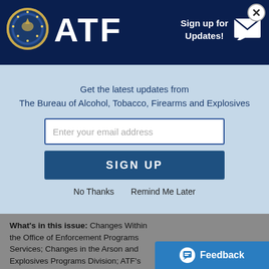ATF - Sign up for Updates!
Get the latest updates from The Bureau of Alcohol, Tobacco, Firearms and Explosives
Enter your email address
SIGN UP
No Thanks   Remind Me Later
What's in this issue: Changes Within the Office of Enforcement Programs Services; Changes in the Arson and Explosives Programs Division; ATF's Response to Hurricanes Katrina and... Response t...
Feedback